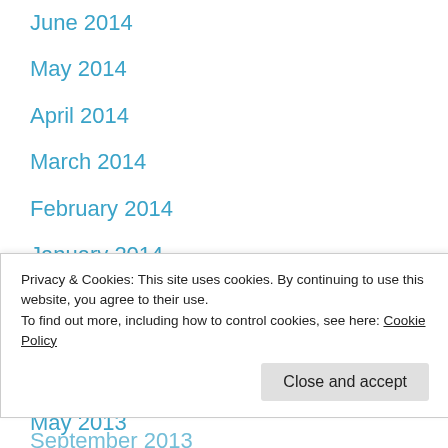June 2014
May 2014
April 2014
March 2014
February 2014
January 2014
December 2013
November 2013
October 2013
September 2013
Privacy & Cookies: This site uses cookies. By continuing to use this website, you agree to their use.
To find out more, including how to control cookies, see here: Cookie Policy
May 2013